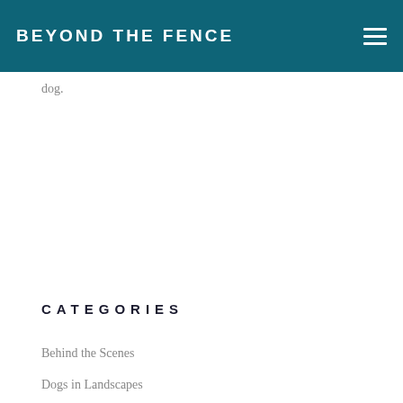BEYOND THE FENCE
dog.
CATEGORIES
Behind the Scenes
Dogs in Landscapes